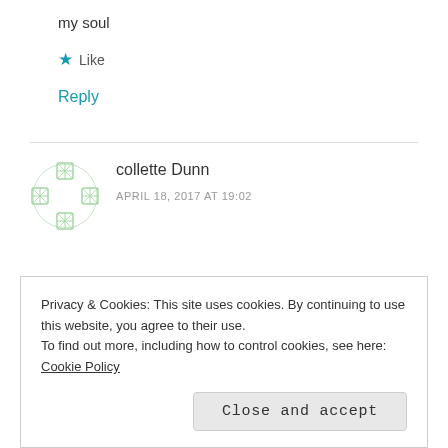my soul
★ Like
Reply
collette Dunn
APRIL 18, 2017 AT 19:02
Privacy & Cookies: This site uses cookies. By continuing to use this website, you agree to their use.
To find out more, including how to control cookies, see here: Cookie Policy
Close and accept